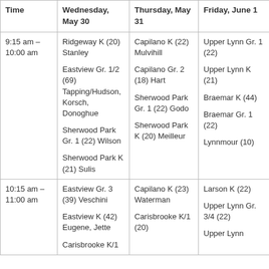| Time | Wednesday, May 30 | Thursday, May 31 | Friday, June 1 |
| --- | --- | --- | --- |
| 9:15 am – 10:00 am | Ridgeway K (20) Stanley

Eastview Gr. 1/2 (69) Tapping/Hudson, Korsch, Donoghue

Sherwood Park Gr. 1 (22) Wilson

Sherwood Park K (21) Sulis | Capilano K (22) Mulvihill

Capilano Gr. 2 (18) Hart

Sherwood Park Gr. 1 (22) Godo

Sherwood Park K (20) Meilleur | Upper Lynn Gr. 1 (22)

Upper Lynn K (21)

Braemar K (44)

Braemar Gr. 1 (22)

Lynnmour (10) |
| 10:15 am – 11:00 am | Eastview Gr. 3 (39) Veschini

Eastview K (42) Eugene, Jette

Carisbrooke K/1 | Capilano K (23) Waterman

Carisbrooke K/1 (20) | Larson K (22)

Upper Lynn Gr. 3/4 (22)

Upper Lynn |